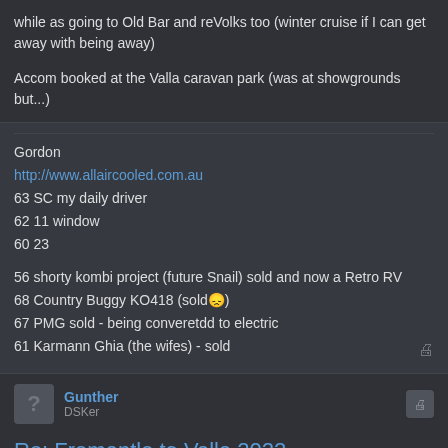while as going to Old Bar and reVolks too (winter cruise if I can get away with being away)
Accom booked at the Valla caravan park (was at showgrounds but...)
Gordon
http://www.allaircooled.com.au
63 SC my daily driver
62 11 window
60 23
56 shorty kombi project (future Snail) sold and now a Retro RV
68 Country Buggy KO418 (sold😞)
67 PMG sold - being converetdd to electric
61 Karmann Ghia (the wifes) - sold
Gunther
DSKer
Re: Fremantle to Valla 2022
Mon Jun 20, 2022 8:20 pm
Epic adventure there Gordon- good luck
warb